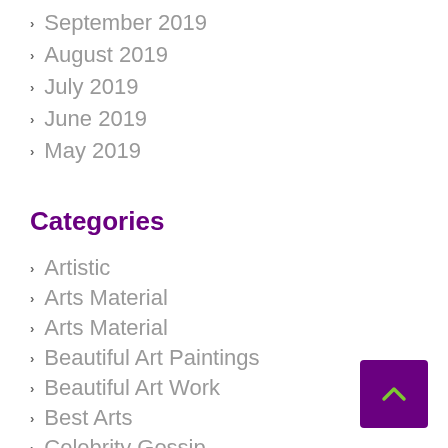September 2019
August 2019
July 2019
June 2019
May 2019
Categories
Artistic
Arts Material
Arts Material
Beautiful Art Paintings
Beautiful Art Work
Best Arts
Celebrity Gossip
Celebrity News